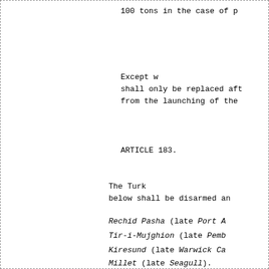100 tons in the case of p
Except w shall only be replaced aft from the launching of the
ARTICLE 183.
The Turk below shall be disarmed an
Rechid Pasha (late Port A
Tir-i-Mujghion (late Pemb
Kiresund (late Warwick Ca
Millet (late Seagull).
Akdeniz.
Bosphorus ferry-boats Nos
ARTICLE 184.